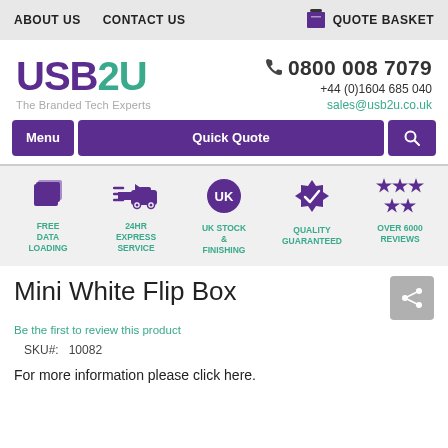ABOUT US   CONTACT US   QUOTE BASKET
[Figure (logo): USB2U logo with tagline 'The Branded Tech Experts']
0800 008 7079
+44 (0)1604 685 040
sales@usb2u.co.uk
Menu   Quick Quote   [search icon]
[Figure (infographic): Five feature icons: FREE DATA LOADING, 24HR EXPRESS SERVICE, UK STOCK & FINISHING, QUALITY GUARANTEED, OVER 6000 REVIEWS]
Mini White Flip Box
Be the first to review this product
SKU#:  10082
For more information please click here.